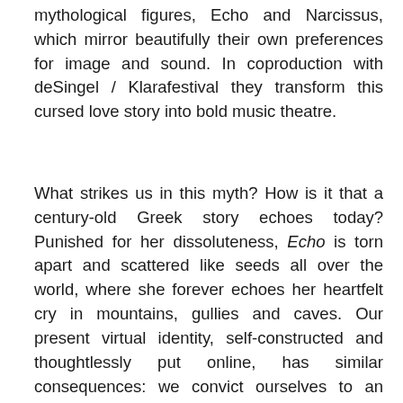mythological figures, Echo and Narcissus, which mirror beautifully their own preferences for image and sound. In coproduction with deSingel / Klarafestival they transform this cursed love story into bold music theatre.
What strikes us in this myth? How is it that a century-old Greek story echoes today? Punished for her dissoluteness, Echo is torn apart and scattered like seeds all over the world, where she forever echoes her heartfelt cry in mountains, gullies and caves. Our present virtual identity, self-constructed and thoughtlessly put online, has similar consequences: we convict ourselves to an eternal live, saved as bytes on one of the millions of data servers worldwide. And never again we can silence our own digital seeds,